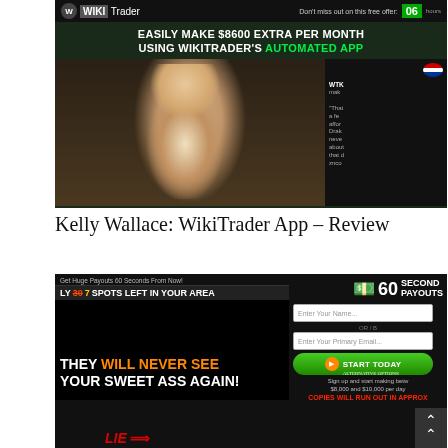[Figure (screenshot): Screenshot of WikiTrader app landing page showing a woman in a white shirt with headline 'EASILY MAKE $8600 EXTRA PER MONTH USING WIKITRADER'S AUTOMATED APP']
Kelly Wallace: WikiTrader App – Review
[Figure (screenshot): Screenshot of '60 Second Payouts' landing page with text 'THEY WILL NEVER SEE YOUR SWEET ASS AGAIN!' and a sign-up form, 'LIE' label with arrow pointing to countdown, and 'COPIES WILL RUN OUT IN APPROX' warning.]